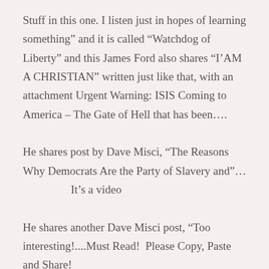Stuff in this one. I listen just in hopes of learning something” and it is called “Watchdog of Liberty” and this James Ford also shares “I’AM  A CHRISTIAN” written just like that, with an attachment Urgent Warning: ISIS Coming to America – The Gate of Hell that has been….
He shares post by Dave Misci, “The Reasons Why Democrats Are the Party of Slavery and”…
    It’s a video
He shares another Dave Misci post, “Too interesting!....Must Read!  Please Copy, Paste and Share!